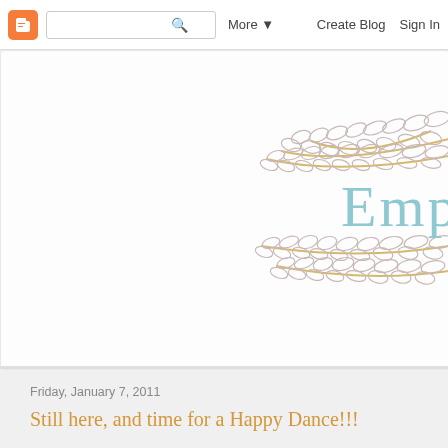Blogger nav bar with search, More, Create Blog, Sign In
[Figure (illustration): Blog header with decorative leaf/vine SVG illustration on right side and partial blog title 'Empty' in light blue]
Friday, January 7, 2011
Still here, and time for a Happy Dance!!!